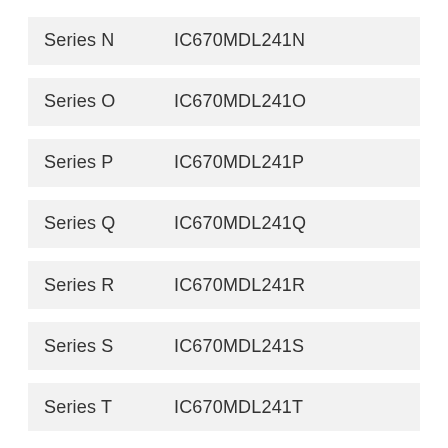Series N    IC670MDL241N
Series O    IC670MDL241O
Series P    IC670MDL241P
Series Q    IC670MDL241Q
Series R    IC670MDL241R
Series S    IC670MDL241S
Series T    IC670MDL241T